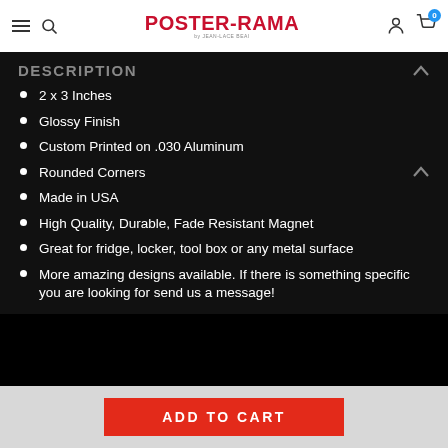Poster-Rama
DESCRIPTION
2 x 3 Inches
Glossy Finish
Custom Printed on .030 Aluminum
Rounded Corners
Made in USA
High Quality, Durable, Fade Resistant Magnet
Great for fridge, locker, tool box or any metal surface
More amazing designs available. If there is something specific you are looking for send us a message!
ADD TO CART